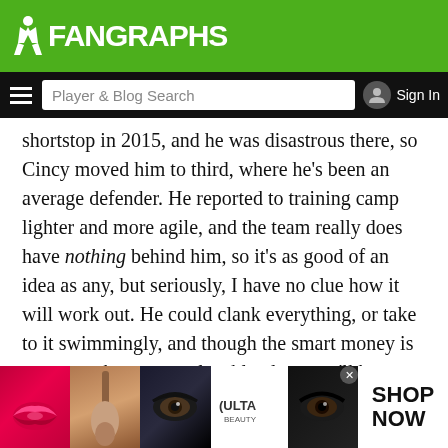FanGraphs
shortstop in 2015, and he was disastrous there, so Cincy moved him to third, where he's been an average defender. He reported to training camp lighter and more agile, and the team really does have nothing behind him, so it's as good of an idea as any, but seriously, I have no clue how it will work out. He could clank everything, or take to it swimmingly, and though the smart money is on a poor-but-not-unplayable glove, we'll have to wait and see.

The Reds would project even better if Suárez got all the playing
[Figure (photo): ULTA Beauty advertisement banner with makeup imagery - lips, brush, eye, ULTA logo, eye closeup, and SHOP NOW call to action]